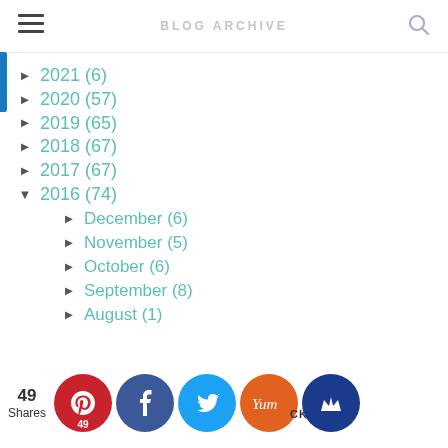BLOG ARCHIVE
► 2021 (6)
► 2020 (57)
► 2019 (65)
► 2018 (67)
► 2017 (67)
▼ 2016 (74)
► December (6)
► November (5)
► October (6)
► September (8)
► August (1)
49 Shares